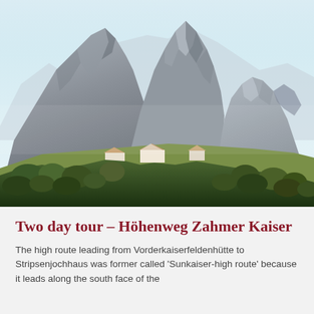[Figure (photo): Mountain landscape photo showing dramatic rocky peaks with alpine buildings and green vegetation in the foreground, likely the Kaiser mountain range in Austria.]
Two day tour – Höhenweg Zahmer Kaiser
The high route leading from Vorderkaiserfeldenhütte to Stripsenjochhaus was former called 'Sunkaiser-high route' because it leads along the south face of the